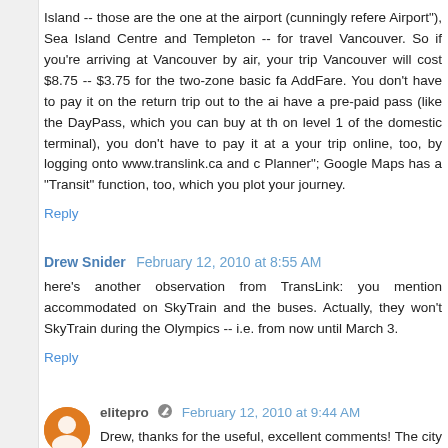Island -- those are the one at the airport (cunningly refere Airport"), Sea Island Centre and Templeton -- for travel Vancouver. So if you're arriving at Vancouver by air, your trip Vancouver will cost $8.75 -- $3.75 for the two-zone basic fa AddFare. You don't have to pay it on the return trip out to the ai have a pre-paid pass (like the DayPass, which you can buy at th on level 1 of the domestic terminal), you don't have to pay it at a your trip online, too, by logging onto www.translink.ca and c Planner"; Google Maps has a "Transit" function, too, which you plot your journey.
Reply
Drew Snider February 12, 2010 at 8:55 AM
here's another observation from TransLink: you mention accommodated on SkyTrain and the buses. Actually, they won't SkyTrain during the Olympics -- i.e. from now until March 3.
Reply
elitepro February 12, 2010 at 9:44 AM
Drew, thanks for the useful, excellent comments! The city of Va always have the Olympics because you guys do such a